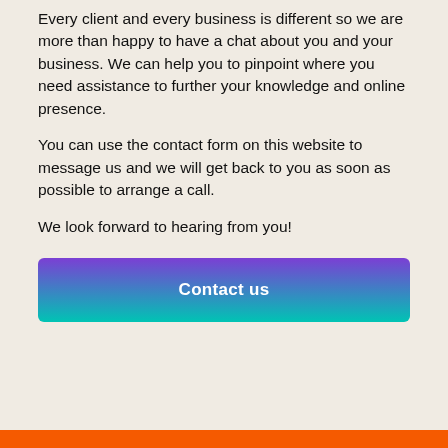Every client and every business is different so we are more than happy to have a chat about you and your business. We can help you to pinpoint where you need assistance to further your knowledge and online presence.
You can use the contact form on this website to message us and we will get back to you as soon as possible to arrange a call.
We look forward to hearing from you!
[Figure (other): A button with a purple-to-teal gradient background and white bold text reading 'Contact us']